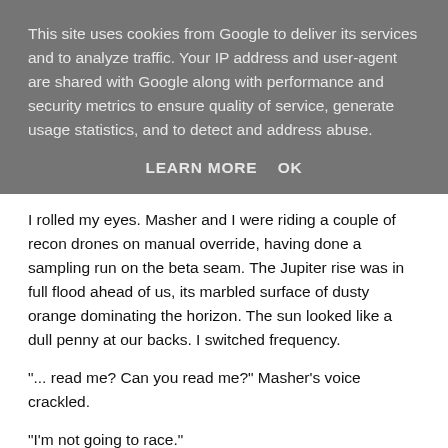This site uses cookies from Google to deliver its services and to analyze traffic. Your IP address and user-agent are shared with Google along with performance and security metrics to ensure quality of service, generate usage statistics, and to detect and address abuse.
LEARN MORE    OK
I rolled my eyes. Masher and I were riding a couple of recon drones on manual override, having done a sampling run on the beta seam. The Jupiter rise was in full flood ahead of us, its marbled surface of dusty orange dominating the horizon. The sun looked like a dull penny at our backs. I switched frequency.
"... read me? Can you read me?" Masher's voice crackled.
"I'm not going to race."
"Listen, Puke-Risk, Two Fish has got too big for his boots. You know it. I know it. So we're gonna stage a mutiny."